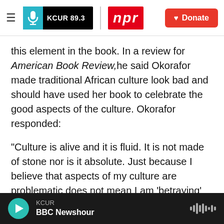KCUR 89.3 | npr | Donate
this element in the book. In a review for American Book Review, he said Okorafor made traditional African culture look bad and should have used her book to celebrate the good aspects of the culture. Okorafor responded:
"Culture is alive and it is fluid. It is not made of stone nor is it absolute. Just because I believe that aspects of my culture are problematic does not mean I am 'betraying' my people by pointing out those problems."
Okorafor is confident that the TV adaptation of her
KCUR | BBC Newshour